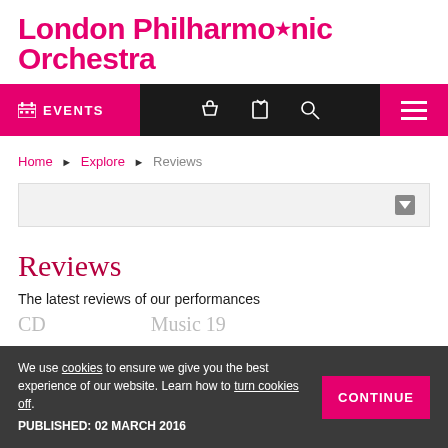London Philharmonic Orchestra
[Figure (screenshot): Navigation bar with EVENTS button (pink), icon bar (black) with basket, share, search icons, and hamburger menu (pink)]
Home ▶ Explore ▶ Reviews
[Figure (screenshot): Dropdown filter box with grey background and down arrow]
Reviews
The latest reviews of our performances
We use cookies to ensure we give you the best experience of our website. Learn how to turn cookies off.
PUBLISHED: 02 MARCH 2016